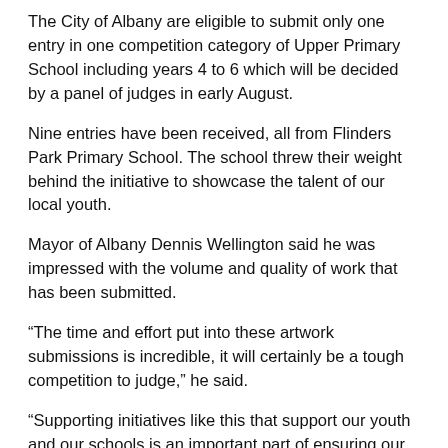The City of Albany are eligible to submit only one entry in one competition category of Upper Primary School including years 4 to 6 which will be decided by a panel of judges in early August.
Nine entries have been received, all from Flinders Park Primary School. The school threw their weight behind the initiative to showcase the talent of our local youth.
Mayor of Albany Dennis Wellington said he was impressed with the volume and quality of work that has been submitted.
“The time and effort put into these artwork submissions is incredible, it will certainly be a tough competition to judge,” he said.
“Supporting initiatives like this that support our youth and our schools is an important part of ensuring our young people remain connected to community and can have opportunities for exposure on a large, capital city stage.”